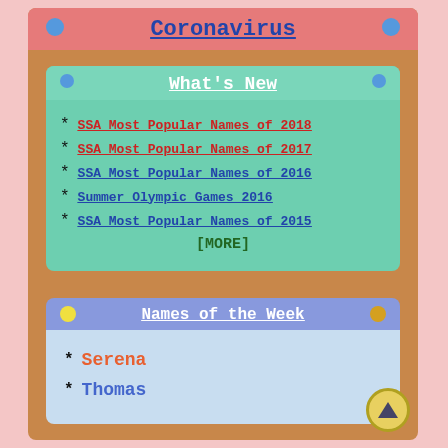Coronavirus
What's New
SSA Most Popular Names of 2018
SSA Most Popular Names of 2017
SSA Most Popular Names of 2016
Summer Olympic Games 2016
SSA Most Popular Names of 2015
[MORE]
Names of the Week
Serena
Thomas